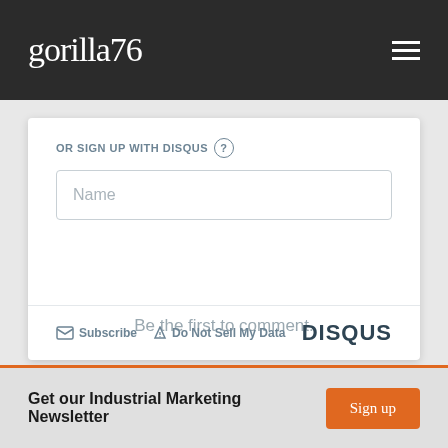gorilla76
OR SIGN UP WITH DISQUS
[Figure (screenshot): Name input text field placeholder]
Be the first to comment.
Subscribe  Do Not Sell My Data  DISQUS
Get our Industrial Marketing Newsletter
Sign up